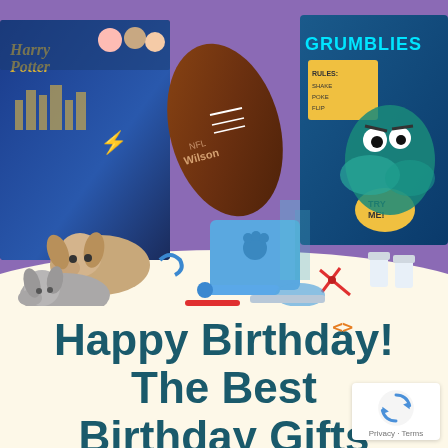[Figure (photo): Collage of birthday gift items including Harry Potter LEGO set box, Wilson NFL football, Grumblies interactive toy box, stuffed animal dogs (plush puppies), a veterinary/doctor play set with blue bag, medical tools, scissors, and small bottles spread on a white surface. Purple background.]
Happy Birthday! The Best Birthday Gifts